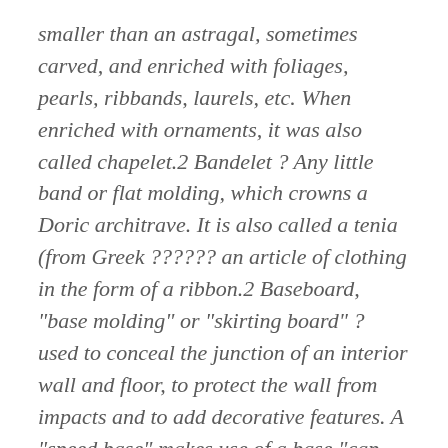smaller than an astragal, sometimes carved, and enriched with foliages, pearls, ribbands, laurels, etc. When enriched with ornaments, it was also called chapelet.2 Bandelet ? Any little band or flat molding, which crowns a Doric architrave. It is also called a tenia (from Greek ?????? an article of clothing in the form of a ribbon.2 Baseboard, "base molding" or "skirting board" ? used to conceal the junction of an interior wall and floor, to protect the wall from impacts and to add decorative features. A "speed base" makes use of a base "cap molding" set on top of a plain 1" thick board, however there are hundreds of